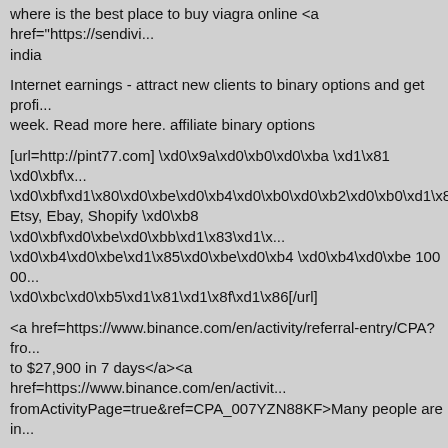where is the best place to buy viagra online <a href="https://sendivi... india
Internet earnings - attract new clients to binary options and get profi... week. Read more here. affiliate binary options
[url=http://pint77.com] \xd0\x9a\xd0\xb0\xd0\xba \xd1\x81 \xd0\xbf\x... \xd0\xbf\xd1\x80\xd0\xbe\xd0\xb4\xd0\xb0\xd0\xb2\xd0\xb0\xd1\x82... Etsy, Ebay, Shopify \xd0\xb8 \xd0\xbf\xd0\xbe\xd0\xbb\xd1\x83\xd1\x... \xd0\xb4\xd0\xbe\xd1\x85\xd0\xbe\xd0\xb4 \xd0\xb4\xd0\xbe 100 00... \xd0\xbc\xd0\xb5\xd1\x81\xd1\x8f\xd1\x86[/url]
<a href=https://www.binance.com/en/activity/referral-entry/CPA?from... to $27,900 in 7 days</a><a href=https://www.binance.com/en/activit... fromActivityPage=true&ref=CPA_007YZN88KF>Many people are in...
synthesis essay ap lang <a href="https://essaymerger.com/ ">expos...
Hello Sir/Madam, I was just going through your website and found th... not have a security certificate(SSL) on your website, which means y... shows "NOT SECURE" at the top left corner of the "SEARCH BAR"... customers) who visit your website. Actually, having SSL is crucial on...
VqWU
VqWU